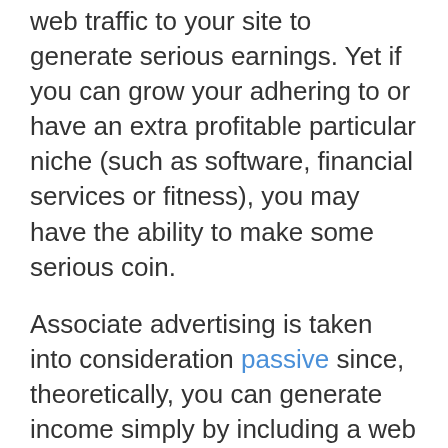web traffic to your site to generate serious earnings. Yet if you can grow your adhering to or have an extra profitable particular niche (such as software, financial services or fitness), you may have the ability to make some serious coin.
Associate advertising is taken into consideration passive since, theoretically, you can generate income simply by including a web link to your website or social media account.
Actually, you will not make anything if you can not attract visitors to your site to click the web link and buy something.
If you're simply starting out, you'll have to